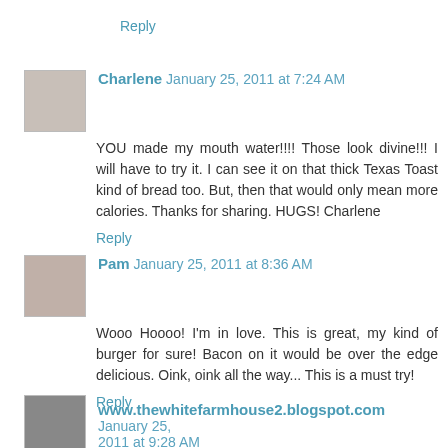Reply
Charlene  January 25, 2011 at 7:24 AM
YOU made my mouth water!!!! Those look divine!!! I will have to try it. I can see it on that thick Texas Toast kind of bread too. But, then that would only mean more calories. Thanks for sharing. HUGS! Charlene
Reply
Pam  January 25, 2011 at 8:36 AM
Wooo Hoooo! I'm in love. This is great, my kind of burger for sure! Bacon on it would be over the edge delicious. Oink, oink all the way... This is a must try!
Reply
www.thewhitefarmhouse2.blogspot.com  January 25, 2011 at 9:28 AM